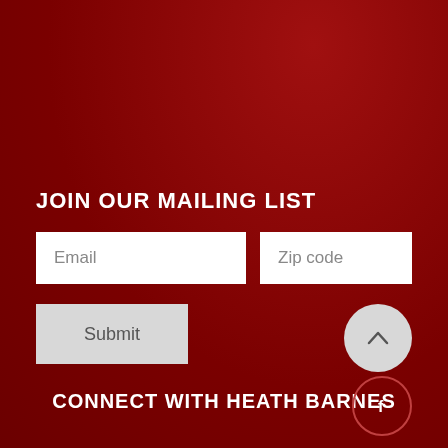JOIN OUR MAILING LIST
Email
Zip code
Submit
CONNECT WITH HEATH BARNES